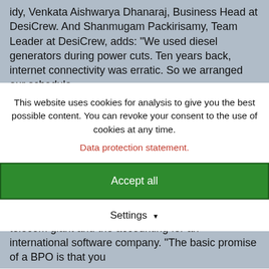idy, Venkata Aishwarya Dhanaraj, Business Head at DesiCrew. And Shanmugam Packirisamy, Team Leader at DesiCrew, adds: "We used diesel generators during power cuts. Ten years back, internet connectivity was erratic. So we arranged our schedule
This website uses cookies for analysis to give you the best possible content. You can revoke your consent to the use of cookies at any time.
Data protection statement.
Accept all
Settings
RuralShores in Tamil Nadu employs 206 youth, hailing from twenty-two villages in a 15 km radius. It handles the customer services management for a telecom giant and the accounting for an international software company. "The basic promise of a BPO is that you